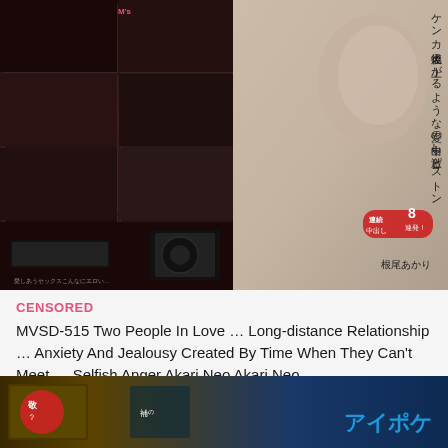[Figure (photo): DVD/video product cover image showing Japanese adult video title MVSD-515 with Japanese text overlay and performer photo on right side, collage of scenes on left side]
CENSORED
MVSD-515 Two People In Love ... Long-distance Relationship ... Anxiety And Jealousy Created By Time When They Can't Meet ... Selfish Anger Akari Neo Akari Neo
[Figure (photo): Partial view of another video product cover at bottom of page showing Japanese text and アイポケ (Ipoke) logo]